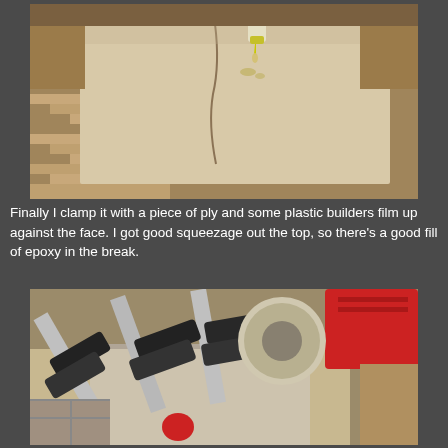[Figure (photo): Close-up photo of someone applying epoxy/glue from a bottle onto a crack or break in a plywood panel, with wooden workshop structure visible beneath]
Finally I clamp it with a piece of ply and some plastic builders film up against the face. I got good squeezage out the top, so there's a good fill of epoxy in the break.
[Figure (photo): Photo of multiple red-handled bar clamps clamping a piece of plywood against a wooden structure, with clear plastic builders film visible between the clamp pads and the wood surface]